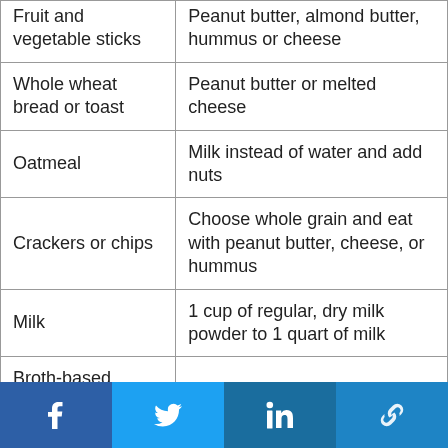| Fruit and vegetable sticks | Peanut butter, almond butter, hummus or cheese |
| Whole wheat bread or toast | Peanut butter or melted cheese |
| Oatmeal | Milk instead of water and add nuts |
| Crackers or chips | Choose whole grain and eat with peanut butter, cheese, or hummus |
| Milk | 1 cup of regular, dry milk powder to 1 quart of milk |
| Broth-based soups | Cream-based soups |
[Figure (other): Social media share buttons: Facebook, Twitter, LinkedIn, and a link/share icon, displayed in a horizontal blue footer bar.]